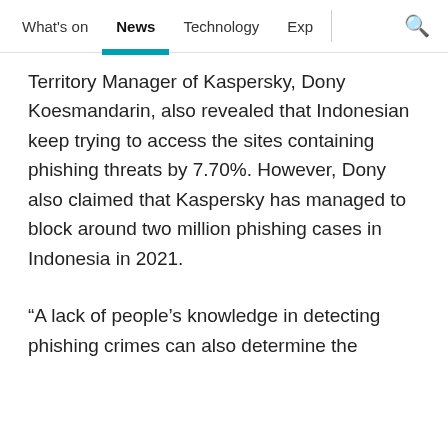What's on  News  Technology  Exp
Territory Manager of Kaspersky, Dony Koesmandarin, also revealed that Indonesian keep trying to access the sites containing phishing threats by 7.70%. However, Dony also claimed that Kaspersky has managed to block around two million phishing cases in Indonesia in 2021.
“A lack of people’s knowledge in detecting phishing crimes can also determine the